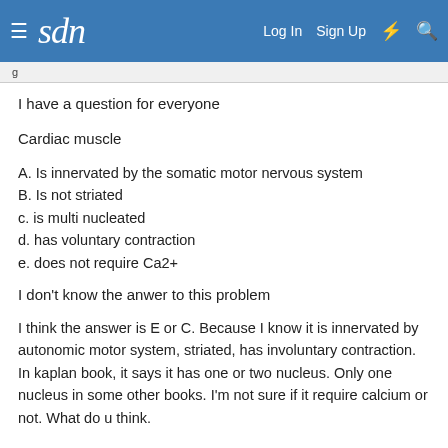sdn   Log In   Sign Up
I have a question for everyone
Cardiac muscle
A. Is innervated by the somatic motor nervous system
B. Is not striated
c. is multi nucleated
d. has voluntary contraction
e. does not require Ca2+
I don't know the anwer to this problem
I think the answer is E or C. Because I know it is innervated by autonomic motor system, striated, has involuntary contraction. In kaplan book, it says it has one or two nucleus. Only one nucleus in some other books. I'm not sure if it require calcium or not. What do u think.